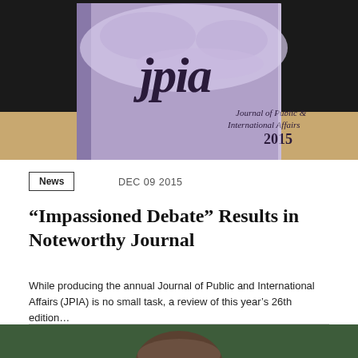[Figure (photo): Photo of the JPIA (Journal of Public and International Affairs) 2015 journal book cover, purple/lavender color with world map design and the text 'jpia Journal of Public & International Affairs 2015', placed on a wooden surface with dark background.]
News
DEC 09 2015
“Impassioned Debate” Results in Noteworthy Journal
While producing the annual Journal of Public and International Affairs (JPIA) is no small task, a review of this year’s 26th edition…
[Figure (photo): Partial photo at bottom of page showing the top of a person's head with brown hair against a green background, cropped.]